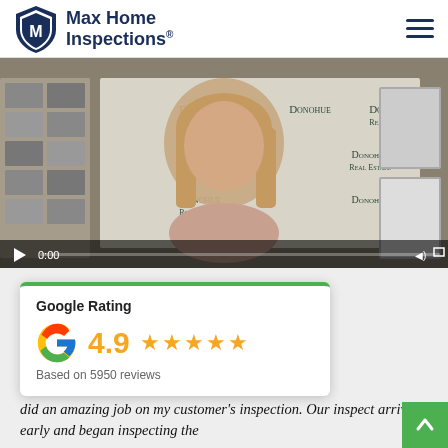Max Home Inspections®
[Figure (screenshot): Video player showing a woman smiling in front of Donohue Real Estate branded backdrop. Video is paused at 0:00 with playback controls visible at bottom.]
[Figure (infographic): Google Rating card showing 4.9 stars based on 5950 reviews with Google G logo]
did an amazing job on my customer's inspection. Our inspect arrived early and began inspecting the